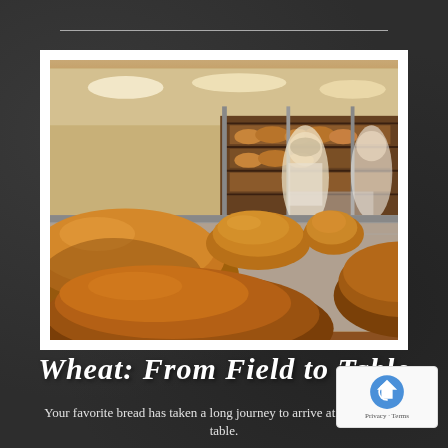[Figure (photo): Commercial bakery photo showing freshly baked bread loaves on a conveyor belt with bakery workers in the background. Golden-brown loaves are in the foreground, with shelves of bread and workers visible in the blurred background.]
Wheat: From Field to Table
Your favorite bread has taken a long journey to arrive at your kitchen table.